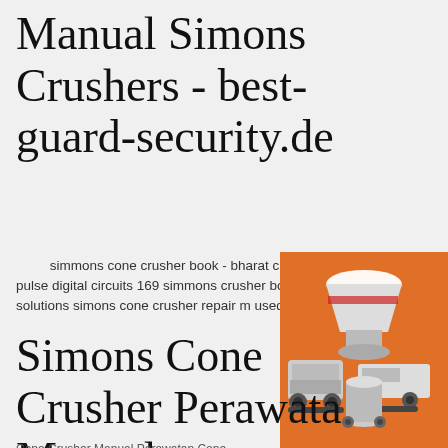Manual Simons Crushers - best-guard-security.de
simmons cone crusher book - bharat city. crusher parts manual 2179 38 electrical mach 39 pulse digital circuits 169 simmons crusher book. new standard cs cone crushers gulins s home solutions simons cone crusher repair m used cone crushers simons cone crusher 4 1 crusher.
[Figure (illustration): Advertisement banner showing industrial crusher machinery (cone crusher, jaw crusher, mobile crushing unit) on orange background with 'Enjoy 3% discount' text, 'Click to Chat' yellow button, 'Enquiry' section, and email 'limingjlmofen@sina.com']
Simons Cone Crusher Perawata Manual
Cone Crusher Manual Perawatan Cone